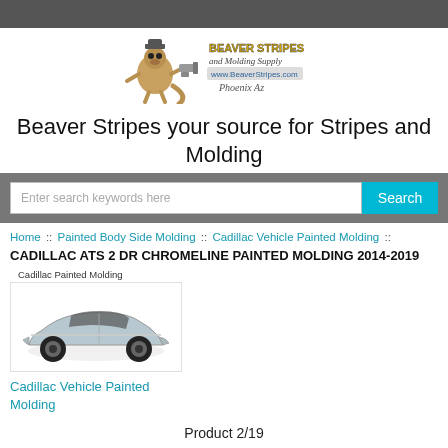[Figure (logo): Beaver Stripes and Molding Supply logo with mascot beaver character, yellow text, www.BeaverStripes.com, Phoenix AZ]
Beaver Stripes your source for Stripes and Molding
Enter search keywords here [Search]
Home :: Painted Body Side Molding :: Cadillac Vehicle Painted Molding ::
CADILLAC ATS 2 DR CHROMELINE PAINTED MOLDING 2014-2019
[Figure (photo): Photo of a silver Cadillac ATS 2-door vehicle with Cadillac Painted Molding label above it]
Cadillac Vehicle Painted Molding
Product 2/19